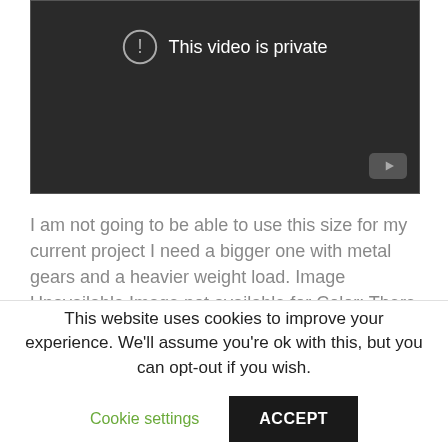[Figure (screenshot): Video player showing 'This video is private' message with an exclamation icon, dark background, and a YouTube icon in the bottom right corner.]
I am not going to be able to use this size for my current project I need a bigger one with metal gears and a heavier weight load. Image Unavailable Image not available for Color: There was a problem completing your request. Alexa Actionable Analytics.
This website uses cookies to improve your experience. We'll assume you're ok with this, but you can opt-out if you wish.
Cookie settings
ACCEPT